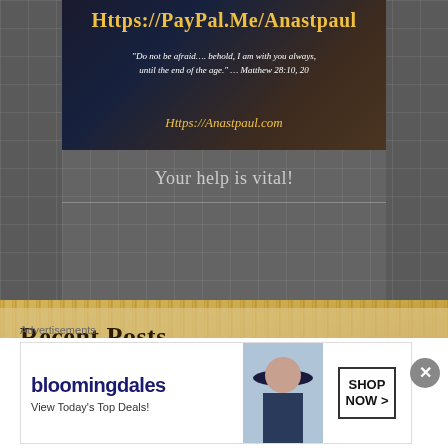[Figure (illustration): Banner image with PayPal donation link, scripture quote from Matthew 28:10,20, and website URL https://Anastpaul.com on dark religious background]
Your help is vital!
Recent Posts
Thought for the Day – 29 August – More About
[Figure (illustration): Bloomingdales advertisement: View Today's Top Deals! SHOP NOW >]
Advertisements